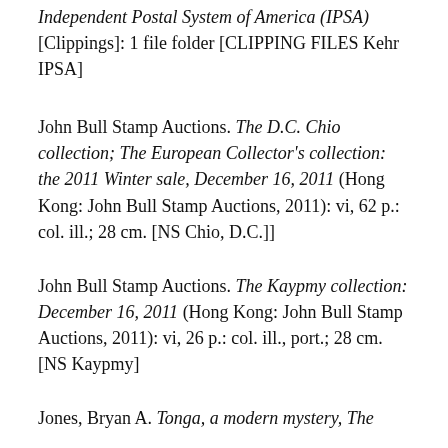Independent Postal System of America (IPSA) [Clippings]: 1 file folder [CLIPPING FILES Kehr IPSA]
John Bull Stamp Auctions. The D.C. Chio collection; The European Collector's collection: the 2011 Winter sale, December 16, 2011 (Hong Kong: John Bull Stamp Auctions, 2011): vi, 62 p.: col. ill.; 28 cm. [NS Chio, D.C.]]
John Bull Stamp Auctions. The Kaypmy collection: December 16, 2011 (Hong Kong: John Bull Stamp Auctions, 2011): vi, 26 p.: col. ill., port.; 28 cm. [NS Kaypmy]
Jones, Bryan A. Tonga, a modern mystery, The